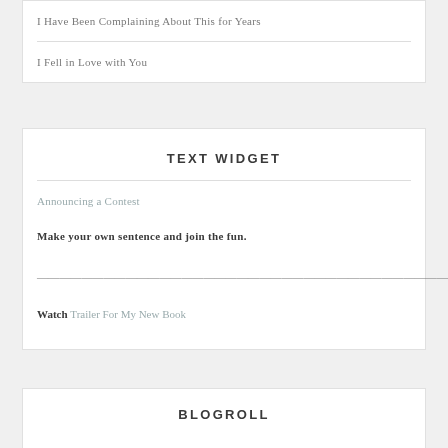I Have Been Complaining About This for Years
I Fell in Love with You
TEXT WIDGET
Announcing a Contest
Make your own sentence and join the fun.
——————————————————————————————————————————
Watch Trailer For My New Book
BLOGROLL